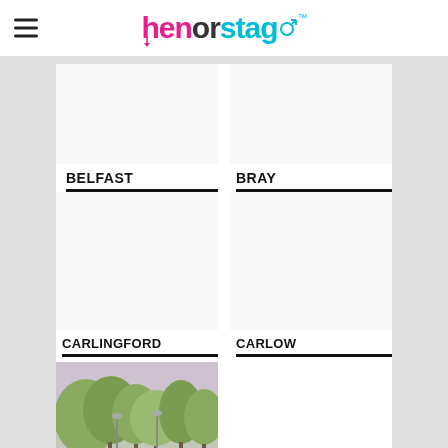henorstag™ (logo header)
BELFAST
BRAY
CARLINGFORD
CARLOW
[Figure (photo): Outdoor photo of trees and a canal/river path with lamp posts, greenery in the foreground]